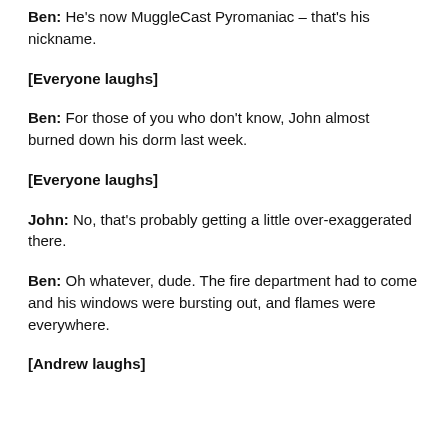Ben: He's now MuggleCast Pyromaniac – that's his nickname.
[Everyone laughs]
Ben: For those of you who don't know, John almost burned down his dorm last week.
[Everyone laughs]
John: No, that's probably getting a little over-exaggerated there.
Ben: Oh whatever, dude. The fire department had to come and his windows were bursting out, and flames were everywhere.
[Andrew laughs]